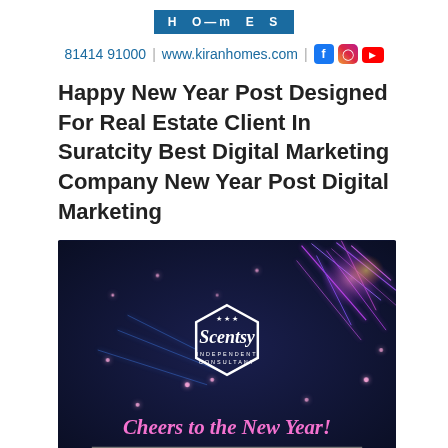HOMES
81414 91000 | www.kiranhomes.com | [Facebook] [Instagram] [YouTube]
Happy New Year Post Designed For Real Estate Client In Suratcity Best Digital Marketing Company New Year Post Digital Marketing
[Figure (photo): Dark navy background with colorful fireworks/sparklers light streaks. Center features the Scentsy Independent Consultant hexagonal logo in white. Bottom text reads 'Cheers to the New Year!' in pink cursive script with a horizontal line below.]